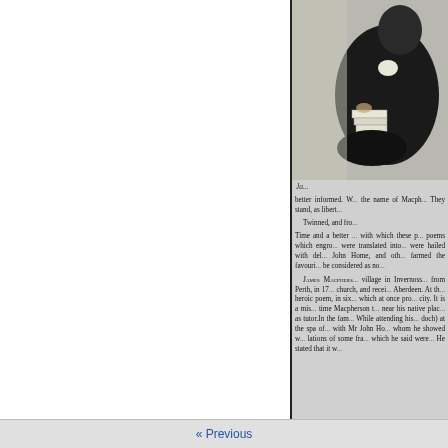[Figure (illustration): Engraved portrait illustration of a seated figure, likely James Macpherson, in historical dress, partially cropped at right edge of page]
Ja...
better informed. W... the name of Macph... They stand, as libert... Twinned, and fro... Time and a better... with which these p... poems which engro... were translated into... were hailed with del... John Home, and oth... farmed the favouri... be considered as no... James Macphers... village in Invernoss... from Perth, in 17... church, and recei... Aberdeen. At th... heroic poem, in six... which at once pro... city. It is a mis... time Macpherson t... near his native plac... as tutor.In the fam... While attending his... doch) at the spa of... with Mr John Ho... whom he showed w... lations of some fra... which he said were... He stated that it w...
« Previous